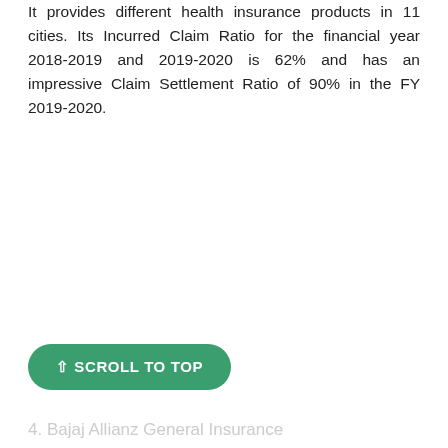It provides different health insurance products in 11 cities. Its Incurred Claim Ratio for the financial year 2018-2019 and 2019-2020 is 62% and has an impressive Claim Settlement Ratio of 90% in the FY 2019-2020.
↑ SCROLL TO TOP
4. Bajaj Allianz General Insurance